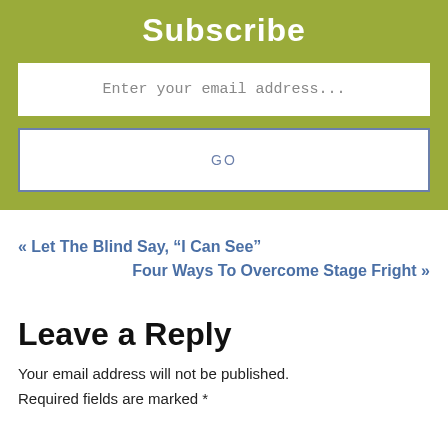Subscribe
Enter your email address...
GO
« Let The Blind Say, “I Can See”
Four Ways To Overcome Stage Fright »
Leave a Reply
Your email address will not be published.
Required fields are marked *